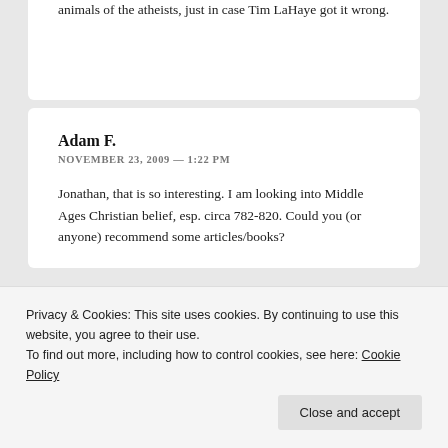animals of the atheists, just in case Tim LaHaye got it wrong.
Adam F.
NOVEMBER 23, 2009 — 1:22 PM
Jonathan, that is so interesting. I am looking into Middle Ages Christian belief, esp. circa 782-820. Could you (or anyone) recommend some articles/books?
Privacy & Cookies: This site uses cookies. By continuing to use this website, you agree to their use.
To find out more, including how to control cookies, see here: Cookie Policy